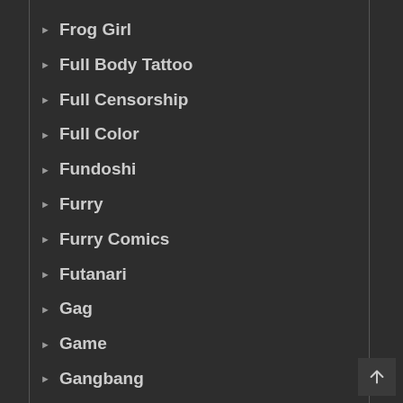Frog Girl
Full Body Tattoo
Full Censorship
Full Color
Fundoshi
Furry
Furry Comics
Futanari
Gag
Game
Gangbang
Gaping
Garter Belt